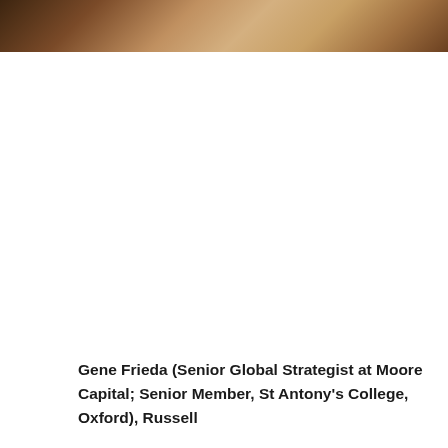[Figure (photo): A cropped photo strip at the top of the page showing one or more people, with warm brown and tan tones suggesting a professional portrait or group photo.]
Gene Frieda (Senior Global Strategist at Moore Capital; Senior Member, St Antony's College, Oxford), Russell